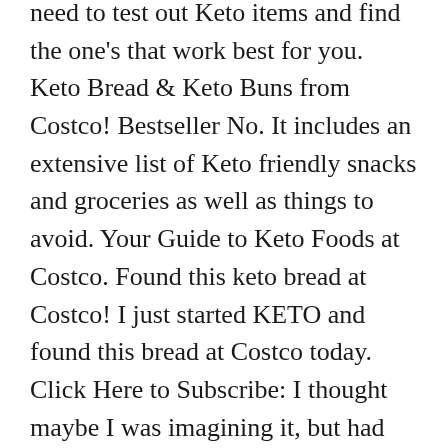need to test out Keto items and find the one's that work best for you. Keto Bread & Keto Buns from Costco! Bestseller No. It includes an extensive list of Keto friendly snacks and groceries as well as things to avoid. Your Guide to Keto Foods at Costco. Found this keto bread at Costco! I just started KETO and found this bread at Costco today. Click Here to Subscribe: I thought maybe I was imagining it, but had my wife try it and she agreed. The taste, to me, was very delicious. Let's get into our top keto Foods at Costco this year. Full disclosure: I'm a carb loving girl so I definitely can't say I'm on a keto diet or even a low-carb diet. I consent to Costco Fan collecting and storing the data I